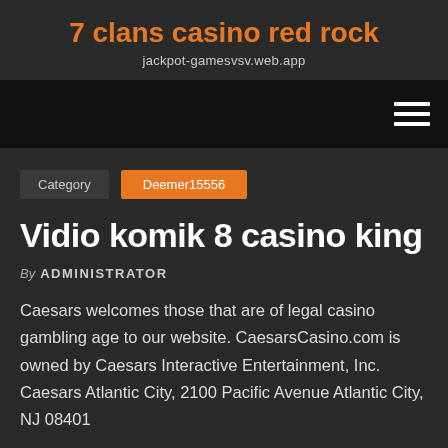7 clans casino red rock
jackpot-gamesvsv.web.app
[Figure (other): Navigation bar with hamburger menu icon (three horizontal lines) on the right]
Category   Deemer15556
Vidio komik 8 casino king
By ADMINISTRATOR
Caesars welcomes those that are of legal casino gambling age to our website. CaesarsCasino.com is owned by Caesars Interactive Entertainment, Inc. Caesars Atlantic City, 2100 Pacific Avenue Atlantic City, NJ 08401